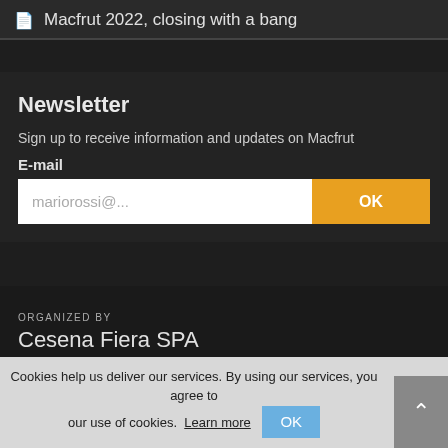Macfrut 2022, closing with a bang
Newsletter
Sign up to receive information and updates on Macfrut
E-mail
mariorossi@...
ORGANIZED BY
Cesena Fiera SPA
Cookies help us deliver our services. By using our services, you agree to our use of cookies.  Learn more   OK